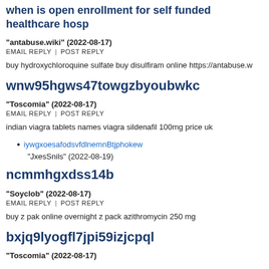when is open enrollment for self funded healthcare hos
"antabuse.wiki" (2022-08-17)
EMAIL REPLY  |  POST REPLY
buy hydroxychloroquine sulfate buy disulfiram online https://antabuse.w
wnw95hgws47towgzbyoubwkc
"Toscomia" (2022-08-17)
EMAIL REPLY  |  POST REPLY
indian viagra tablets names viagra sildenafil 100mg price uk
iywgxoesafodsvfdlnemnBtjphokew
"JxesSnils" (2022-08-19)
ncmmhgxdss14b
"Soyclob" (2022-08-17)
EMAIL REPLY  |  POST REPLY
buy z pak online overnight z pack azithromycin 250 mg
bxjq9lyogfl7jpi59izjcpql
"Toscomia" (2022-08-17)